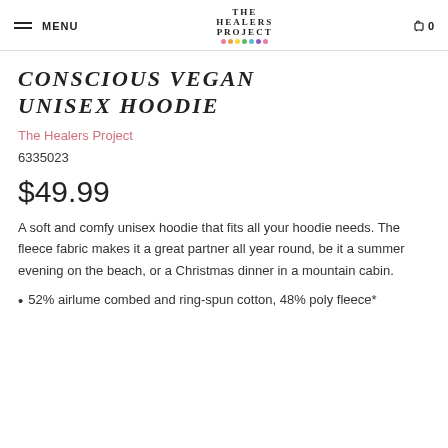MENU | THE HEALERS PROJECT | 0
CONSCIOUS VEGAN UNISEX HOODIE
The Healers Project
6335023
$49.99
A soft and comfy unisex hoodie that fits all your hoodie needs. The fleece fabric makes it a great partner all year round, be it a summer evening on the beach, or a Christmas dinner in a mountain cabin.
52% airlume combed and ring-spun cotton, 48% poly fleece*